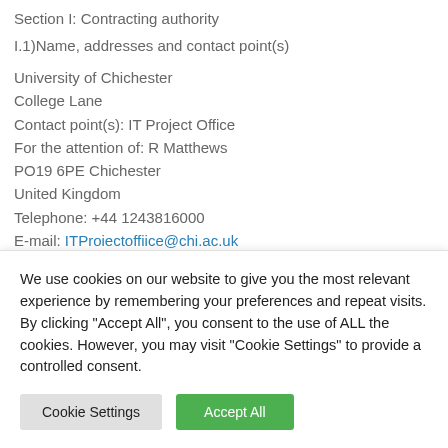Section I: Contracting authority
I.1)Name, addresses and contact point(s)
University of Chichester
College Lane
Contact point(s): IT Project Office
For the attention of: R Matthews
PO19 6PE Chichester
United Kingdom
Telephone: +44 1243816000
E-mail: ITProjectoffiice@chi.ac.uk
We use cookies on our website to give you the most relevant experience by remembering your preferences and repeat visits. By clicking "Accept All", you consent to the use of ALL the cookies. However, you may visit "Cookie Settings" to provide a controlled consent.
Cookie Settings
Accept All